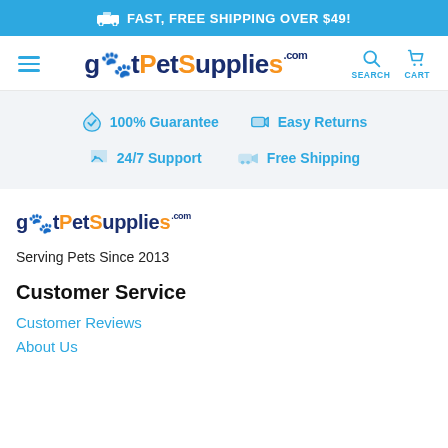FAST, FREE SHIPPING OVER $49!
[Figure (logo): gotPetSupplies.com logo with hamburger menu, search and cart icons]
100% Guarantee   Easy Returns   24/7 Support   Free Shipping
[Figure (logo): gotPetSupplies.com footer logo]
Serving Pets Since 2013
Customer Service
Customer Reviews
About Us